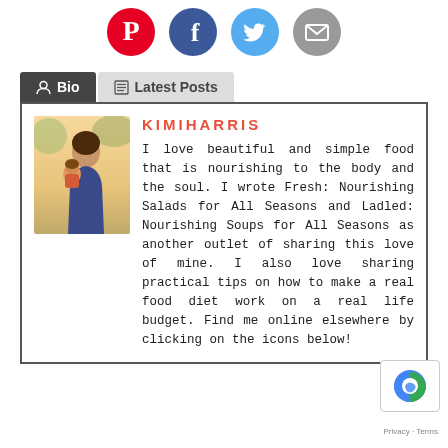[Figure (infographic): Four social media icons in a row: Pinterest (red circle with P), Facebook (blue circle with f), Twitter (light blue circle with bird), Email (grey circle with envelope)]
[Figure (other): Two tab navigation buttons: 'Bio' (dark grey, active) and 'Latest Posts' (light grey)]
[Figure (photo): Photo of a woman holding a young child outdoors]
KIMIHARRIS
I love beautiful and simple food that is nourishing to the body and the soul. I wrote Fresh: Nourishing Salads for All Seasons and Ladled: Nourishing Soups for All Seasons as another outlet of sharing this love of mine. I also love sharing practical tips on how to make a real food diet work on a real life budget. Find me online elsewhere by clicking on the icons below!